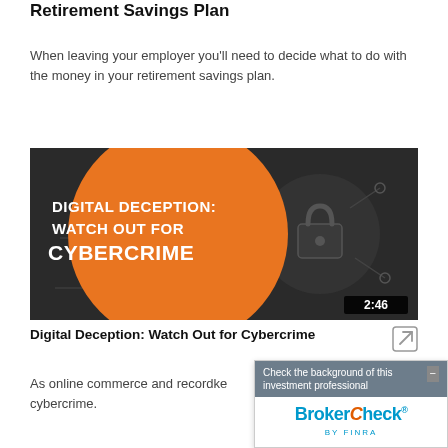Retirement Savings Plan
When leaving your employer you'll need to decide what to do with the money in your retirement savings plan.
[Figure (screenshot): Video thumbnail for 'Digital Deception: Watch Out for Cybercrime'. Orange circle on dark background with padlock/circuit imagery. Text reads: DIGITAL DECEPTION: WATCH OUT FOR CYBERCRIME. Duration shown: 2:46.]
Digital Deception: Watch Out for Cybercrime
As online commerce and recordkeeping have expanded, so has cybercrime.